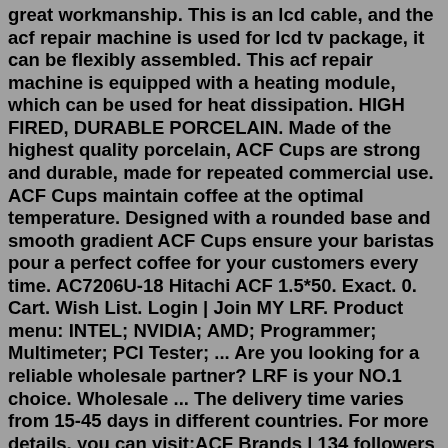great workmanship. This is an lcd cable, and the acf repair machine is used for lcd tv package, it can be flexibly assembled. This acf repair machine is equipped with a heating module, which can be used for heat dissipation. HIGH FIRED, DURABLE PORCELAIN. Made of the highest quality porcelain, ACF Cups are strong and durable, made for repeated commercial use. ACF Cups maintain coffee at the optimal temperature. Designed with a rounded base and smooth gradient ACF Cups ensure your baristas pour a perfect coffee for your customers every time. AC7206U-18 Hitachi ACF 1.5*50. Exact. 0. Cart. Wish List. Login | Join MY LRF. Product menu: INTEL; NVIDIA; AMD; Programmer; Multimeter; PCI Tester; ... Are you looking for a reliable wholesale partner? LRF is your NO.1 choice. Wholesale ... The delivery time varies from 15-45 days in different countries. For more details, you can visit:ACF Brands | 134 followers on LinkedIn. Advanced Concept Footwear, which was established in 1983, has been a leading footwear manufacturer in the United States